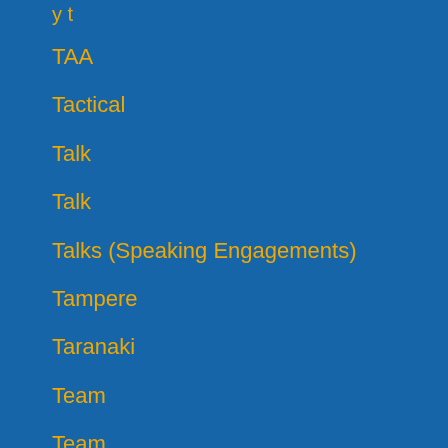y t
TAA
Tactical
Talk
Talk
Talks (Speaking Engagements)
Tampere
Taranaki
Team
Team